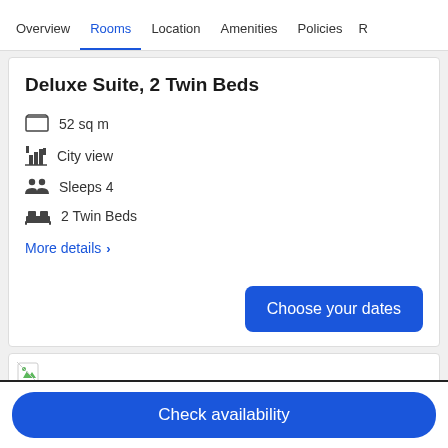Overview | Rooms | Location | Amenities | Policies | R
Deluxe Suite, 2 Twin Beds
52 sq m
City view
Sleeps 4
2 Twin Beds
More details >
Choose your dates
[Figure (photo): Room image placeholder (broken image icon visible)]
Check availability